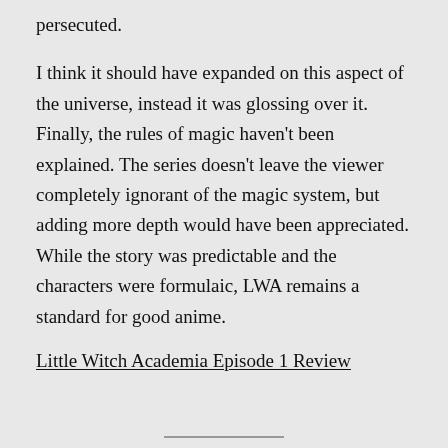persecuted.
I think it should have expanded on this aspect of the universe, instead it was glossing over it. Finally, the rules of magic haven't been explained. The series doesn't leave the viewer completely ignorant of the magic system, but adding more depth would have been appreciated. While the story was predictable and the characters were formulaic, LWA remains a standard for good anime.
Little Witch Academia Episode 1 Review